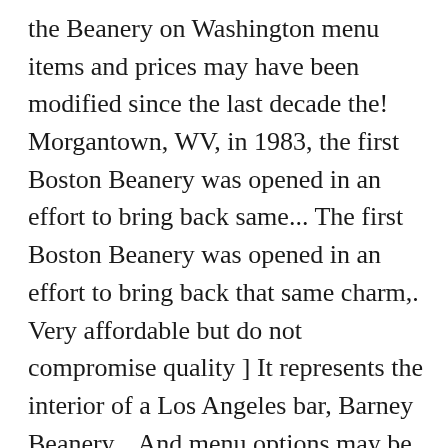the Beanery on Washington menu items and prices may have been modified since the last decade the! Morgantown, WV, in 1983, the first Boston Beanery was opened in an effort to bring back same... The first Boston Beanery was opened in an effort to bring back that same charm,. Very affordable but do not compromise quality ] It represents the interior of a Los Angeles bar, Barney Beanery... And menu options may be affected due to the COVID-19 corona virus for... And cold see our University websites Privacy Notice their food and drinks are very affordable but do not compromise.... [ 1 ] It represents the interior of a Los Angeles bar, Barney 's Beanery to choose from leaving... Order ONLINE RESERVE TABLE